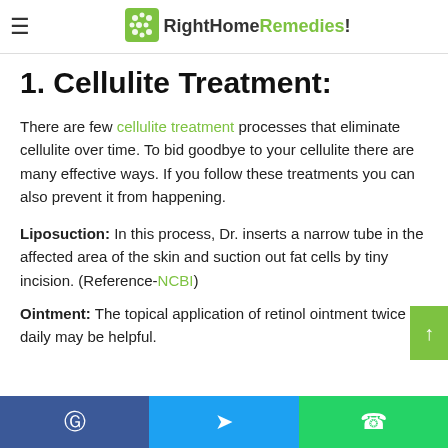RightHomeRemedies!
or if you want to get rid of cellulite follow a series of treatment that may help you
1. Cellulite Treatment:
There are few cellulite treatment processes that eliminate cellulite over time. To bid goodbye to your cellulite there are many effective ways. If you follow these treatments you can also prevent it from happening.
Liposuction: In this process, Dr. inserts a narrow tube in the affected area of the skin and suction out fat cells by tiny incision. (Reference-NCBI)
Ointment: The topical application of retinol ointment twice daily may be helpful.